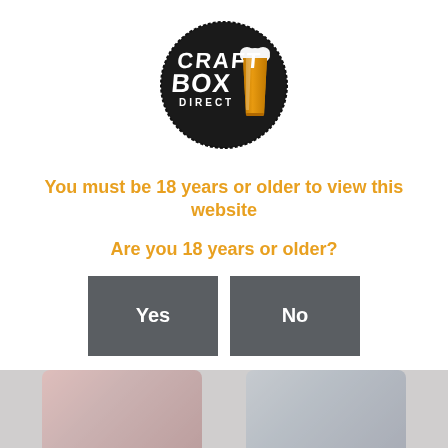[Figure (logo): Craft Box Direct logo: circular black badge with white 'CRAFT BOX DIRECT' text and an amber/gold pint glass illustration]
You must be 18 years or older to view this website
Are you 18 years or older?
[Figure (other): Two dark grey buttons side-by-side labeled 'Yes' and 'No']
Remember me
[Figure (photo): Background image showing two bottles partially visible at the bottom of the page]